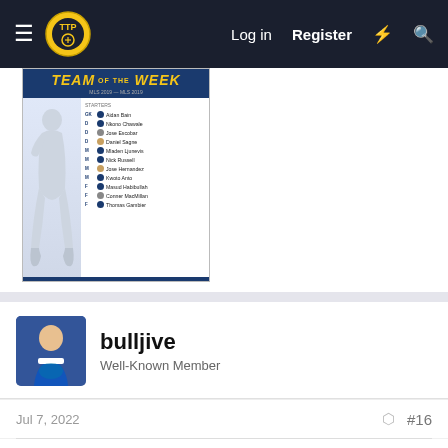TTP Forum — Log in  Register
[Figure (infographic): Team of the Week graphic showing a soccer player silhouette on the left and a list of players on the right: GK Aidan Bain, D Nicano Chawale, D Jose Escobar, D Daniel Sagne, M Mladen Ljunevis, M Nick Russell, M Jose Hernandez, M Kwoto Anto, F Masud Habibullah, F Conner MacMillan, F Thomas Gambier]
bulljive
Well-Known Member
Jul 7, 2022
#16
What's the general feeling on the level of this league so far? I've heard next to nothing. I'm not big into social